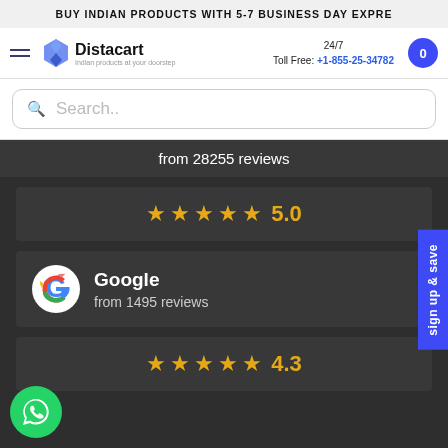BUY INDIAN PRODUCTS WITH 5-7 BUSINESS DAY EXPRE
[Figure (screenshot): Distacart logo with tagline 'Indian products at your doorstep']
24/7 Toll Free: +1-855-25-34782
Search..
from 28255 reviews
★★★★★ 5.0
Google
from 1495 reviews
★★★★★ 4.3
sign up & save